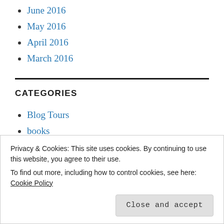June 2016
May 2016
April 2016
March 2016
CATEGORIES
Blog Tours
books
Privacy & Cookies: This site uses cookies. By continuing to use this website, you agree to their use.
To find out more, including how to control cookies, see here: Cookie Policy
Close and accept